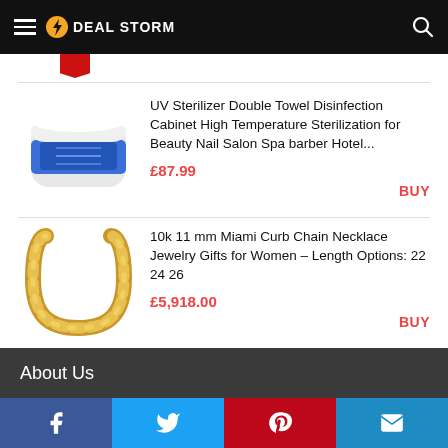DEAL STORM
[Figure (photo): UV Sterilizer Double Towel Disinfection Cabinet product image]
UV Sterilizer Double Towel Disinfection Cabinet High Temperature Sterilization for Beauty Nail Salon Spa barber Hotel...
£87.99
BUY
[Figure (photo): Gold curb chain necklace product image]
10k 11 mm Miami Curb Chain Necklace Jewelry Gifts for Women – Length Options: 22 24 26
£5,918.00
BUY
About Us
Facebook Twitter Pinterest Email